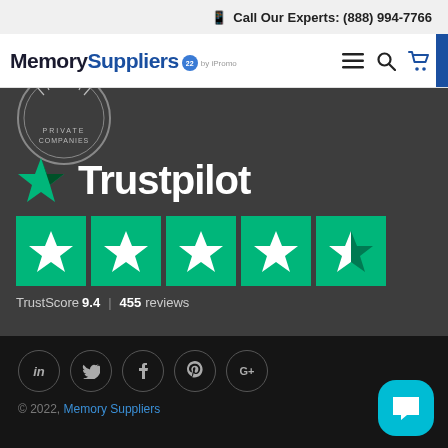Call Our Experts: (888) 994-7766
[Figure (logo): Memory Suppliers by iPromo logo with navigation icons (hamburger menu, search, cart)]
[Figure (logo): Private Companies badge/seal, circular emblem]
[Figure (logo): Trustpilot logo with green star and wordmark, five green star rating boxes, TrustScore 9.4 | 455 reviews]
[Figure (other): Footer social media icons: LinkedIn, Twitter, Facebook, Pinterest, Google+]
© 2022, Memory Suppliers